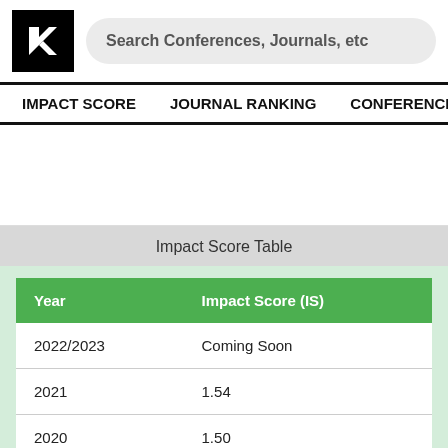[Figure (logo): Black square logo with white K-like arrow symbol]
Search Conferences, Journals, etc
IMPACT SCORE   JOURNAL RANKING   CONFERENCE
Impact Score Table
| Year | Impact Score (IS) |
| --- | --- |
| 2022/2023 | Coming Soon |
| 2021 | 1.54 |
| 2020 | 1.50 |